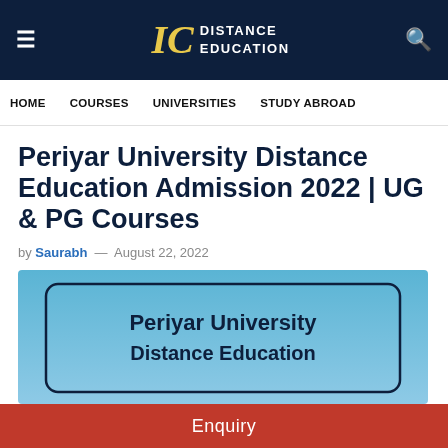IC DISTANCE EDUCATION
HOME   COURSES   UNIVERSITIES   STUDY ABROAD
Periyar University Distance Education Admission 2022 | UG & PG Courses
by Saurabh — August 22, 2022
[Figure (illustration): Banner image with light blue gradient background showing text 'Periyar University Distance Education' in bold dark navy, inside a rounded rectangle border]
Enquiry